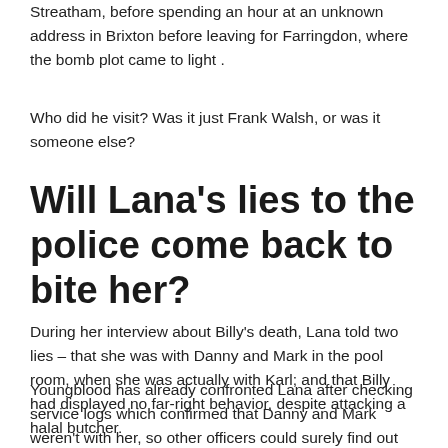Streatham, before spending an hour at an unknown address in Brixton before leaving for Farringdon, where the bomb plot came to light .
Who did he visit? Was it just Frank Walsh, or was it someone else?
Will Lana’s lies to the police come back to bite her?
During her interview about Billy’s death, Lana told two lies – that she was with Danny and Mark in the pool room, when she was actually with Karl; and that Billy had displayed no far-right behavior, despite attacking a halal butcher.
Youngblood has already confronted Lana after checking service logs which confirmed that Danny and Mark weren’t with her, so other officers could surely find out for themselves.